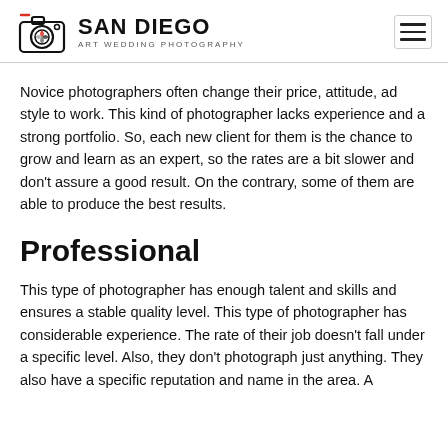SAN DIEGO ART WEDDING PHOTOGRAPHY
Novice photographers often change their price, attitude, ad style to work. This kind of photographer lacks experience and a strong portfolio. So, each new client for them is the chance to grow and learn as an expert, so the rates are a bit slower and don't assure a good result. On the contrary, some of them are able to produce the best results.
Professional
This type of photographer has enough talent and skills and ensures a stable quality level. This type of photographer has considerable experience. The rate of their job doesn't fall under a specific level. Also, they don't photograph just anything. They also have a specific reputation and name in the area. A